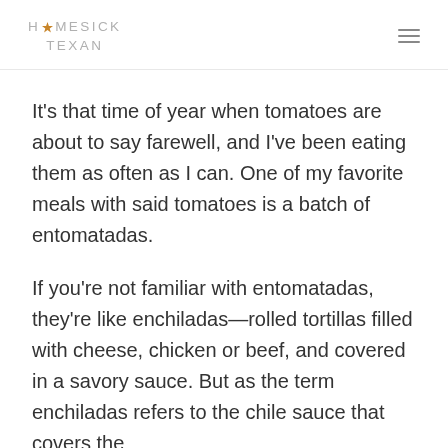HOMESICK TEXAN
It’s that time of year when tomatoes are about to say farewell, and I’ve been eating them as often as I can. One of my favorite meals with said tomatoes is a batch of entomatadas.
If you’re not familiar with entomatadas, they’re like enchiladas—rolled tortillas filled with cheese, chicken or beef, and covered in a savory sauce. But as the term enchiladas refers to the chile sauce that covers the